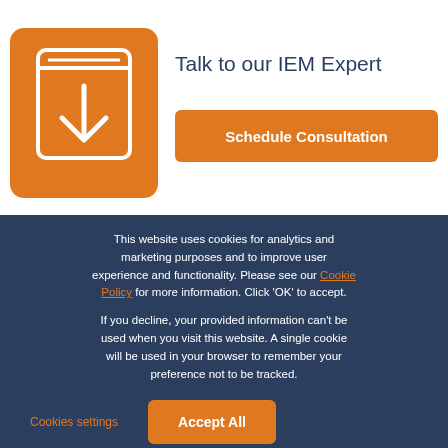[Figure (illustration): Orange rounded square icon with a book/document and a downward arrow symbol in white]
Talk to our IEM Expert
Schedule Consultation
This website uses cookies for analytics and marketing purposes and to improve user experience and functionality. Please see our Cookie Policy for more information. Click 'OK' to accept.
If you decline, your provided information can't be used when you visit this website. A single cookie will be used in your browser to remember your preference not to be tracked.
Cookies settings
Accept All